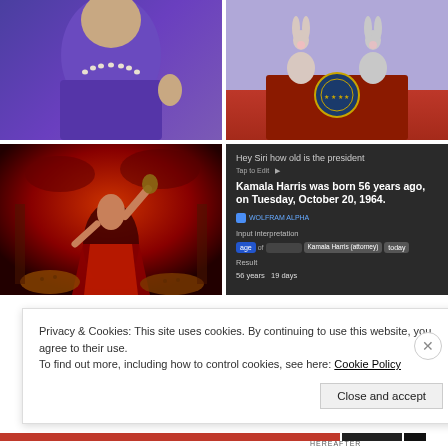[Figure (photo): Four-panel image collage: top-left shows a woman in a purple blazer with pearl necklace; top-right shows cartoon bunnies at a presidential podium; bottom-left shows a fantasy illustration of a woman in red with leopards in a dark red sky background; bottom-right shows a screenshot of Siri/Wolfram Alpha answering 'Hey Siri how old is the president' with answer 'Kamala Harris was born 56 years ago, on Tuesday, October 20, 1964.' and result '56 years 19 days']
Privacy & Cookies: This site uses cookies. By continuing to use this website, you agree to their use.
To find out more, including how to control cookies, see here: Cookie Policy
Close and accept